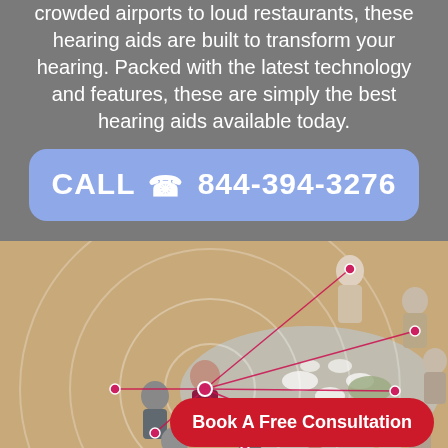crowded airports to loud restaurants, these hearing aids are built to transform your hearing. Packed with the latest technology and features, these are simply the best hearing aids available today.
CALL 📞 844-394-3276
[Figure (photo): Overhead aerial view of people sitting around a dining table in a restaurant, with concentric circle overlays and connected dot lines (network/hearing signal visualization) superimposed on the image.]
Book A Free Consultation